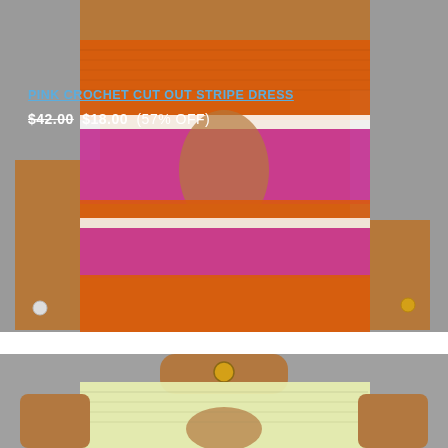[Figure (photo): Model wearing an orange, white, and pink crochet cut-out stripe dress with cut-out detail at chest area, posed against a light gray background.]
PINK CROCHET CUT OUT STRIPE DRESS
$42.00 $18.00 (57% OFF)
[Figure (photo): Model wearing a light yellow/cream crochet mini dress with cut-out detail, photographed from mid-torso up against a gray background.]